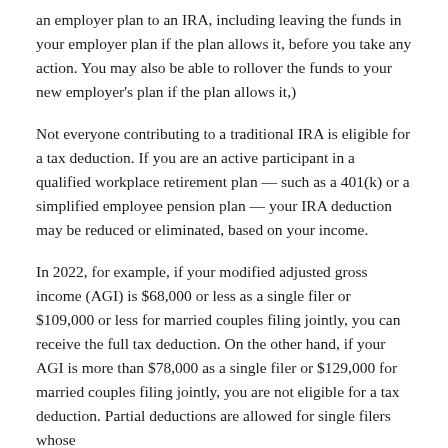an employer plan to an IRA, including leaving the funds in your employer plan if the plan allows it, before you take any action. You may also be able to rollover the funds to your new employer's plan if the plan allows it,)
Not everyone contributing to a traditional IRA is eligible for a tax deduction. If you are an active participant in a qualified workplace retirement plan — such as a 401(k) or a simplified employee pension plan — your IRA deduction may be reduced or eliminated, based on your income.
In 2022, for example, if your modified adjusted gross income (AGI) is $68,000 or less as a single filer or $109,000 or less for married couples filing jointly, you can receive the full tax deduction. On the other hand, if your AGI is more than $78,000 as a single filer or $129,000 for married couples filing jointly, you are not eligible for a tax deduction. Partial deductions are allowed for single filers whose